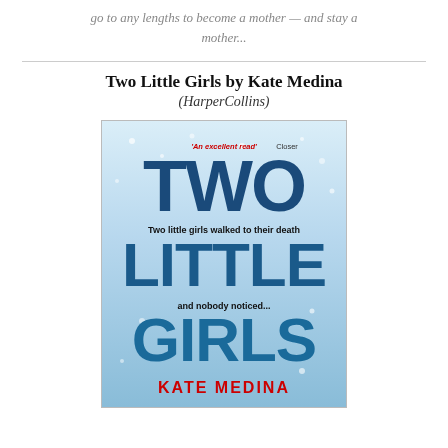go to any lengths to become a mother — and stay a mother...
Two Little Girls by Kate Medina
(HarperCollins)
[Figure (photo): Book cover of 'Two Little Girls' by Kate Medina (HarperCollins). The cover features large bold blue text reading 'TWO LITTLE GIRLS' against a snowy/icy background. A red quote reads 'An excellent read' Closer. Subtitle text reads 'Two little girls walked to their death and nobody noticed...' The author name KATE MEDINA appears at the bottom in red.]